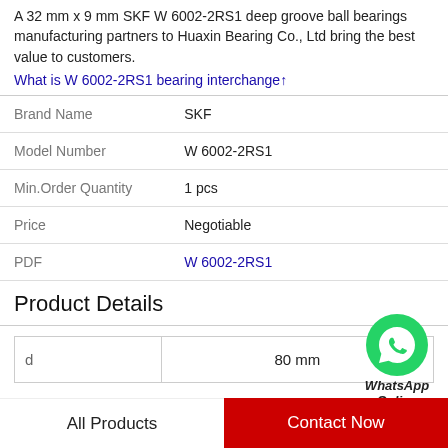A 32 mm x 9 mm SKF W 6002-2RS1 deep groove ball bearings manufacturing partners to Huaxin Bearing Co., Ltd bring the best value to customers.
What is W 6002-2RS1 bearing interchange↑
| Field | Value |
| --- | --- |
| Brand Name | SKF |
| Model Number | W 6002-2RS1 |
| Min.Order Quantity | 1 pcs |
| Price | Negotiable |
| PDF | W 6002-2RS1 |
[Figure (logo): WhatsApp Online green phone icon with label 'WhatsApp Online']
Product Details
| d | 80 mm |
| --- | --- |
| d | 80 mm |